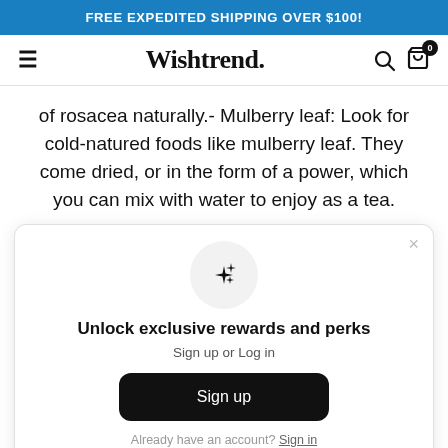FREE EXPEDITED SHIPPING OVER $100!
Wishtrend.
of rosacea naturally.- Mulberry leaf: Look for cold-natured foods like mulberry leaf. They come dried, or in the form of a power, which you can mix with water to enjoy as a tea.
[Figure (infographic): Modal popup with sparkle icon, title 'Unlock exclusive rewards and perks', subtitle 'Sign up or Log in', a Sign up button, and 'Already have an account? Sign in' link.]
3. Sleep with ab...